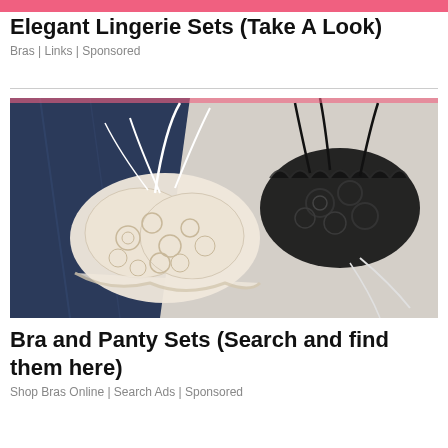[Figure (other): Pink decorative banner bar at top of page]
Elegant Lingerie Sets (Take A Look)
Bras | Links | Sponsored
[Figure (photo): Photo of white and black lace bralettes on a white fabric background with dark navy blue fabric]
Bra and Panty Sets (Search and find them here)
Shop Bras Online | Search Ads | Sponsored